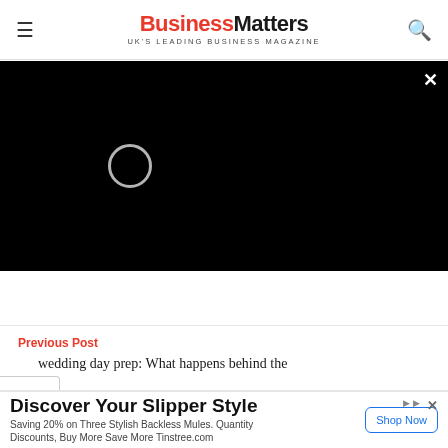Business Matters — UK'S LEADING BUSINESS MAGAZINE
[Figure (screenshot): Black video player area with a loading spinner circle (white ring outline) in the upper-left quadrant, and an X close button in the top-right corner.]
Previous Post
wedding day prep: What happens behind the
[Figure (infographic): Advertisement banner: 'Discover Your Slipper Style — Saving 20% on Three Stylish Backless Mules. Quantity Discounts, Buy More Save More Tinstree.com' with a 'Shop Now' button.]